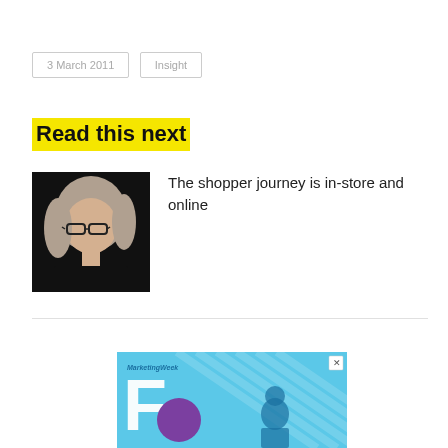3 March 2011
Insight
Read this next
[Figure (photo): Black and white portrait photo of a woman with glasses and blonde hair wearing a black top]
The shopper journey is in-store and online
[Figure (illustration): Advertisement banner with light blue background featuring Marketing Week branding and large white F letter with purple circle and diagonal pattern lines and a person figure]